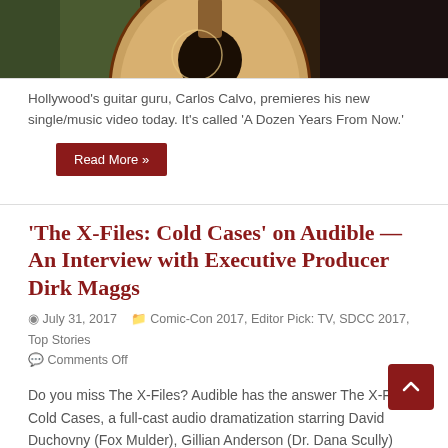[Figure (photo): Partial photo of a guitar, dark background with brown/wood tones visible at top of page]
Hollywood's guitar guru, Carlos Calvo, premieres his new single/music video today. It's called 'A Dozen Years From Now.'
Read More »
'The X-Files: Cold Cases' on Audible — An Interview with Executive Producer Dirk Maggs
July 31, 2017   Comic-Con 2017, Editor Pick: TV, SDCC 2017, Top Stories   Comments Off
Do you miss The X-Files? Audible has the answer The X-Files: Cold Cases, a full-cast audio dramatization starring David Duchovny (Fox Mulder), Gillian Anderson (Dr. Dana Scully) and the entire X-Files cast. The story is based on Joe Harris's graphic novels and adapted by Dirk Maggs (The Hitchhiker's Guide to …
Read More »